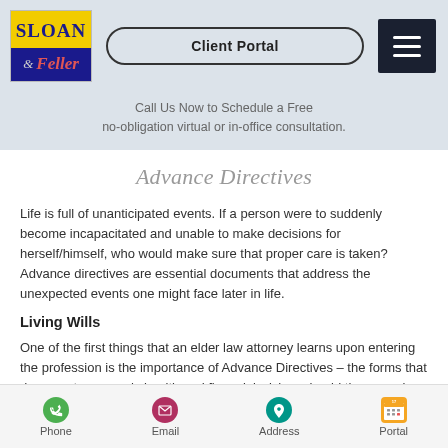[Figure (logo): Sloan & Feller law firm logo with yellow top and blue bottom sections]
Client Portal | (hamburger menu)
Call Us Now to Schedule a Free no-obligation virtual or in-office consultation.
Advance Directives
Life is full of unanticipated events. If a person were to suddenly become incapacitated and unable to make decisions for herself/himself, who would make sure that proper care is taken? Advance directives are essential documents that address the unexpected events one might face later in life.
Living Wills
One of the first things that an elder law attorney learns upon entering the profession is the importance of Advance Directives – the forms that document a person's health and financial wishes should they remain alive, but incapacitated. The most poignant of these declarations are Living Wills.
Phone | Email | Address | Portal